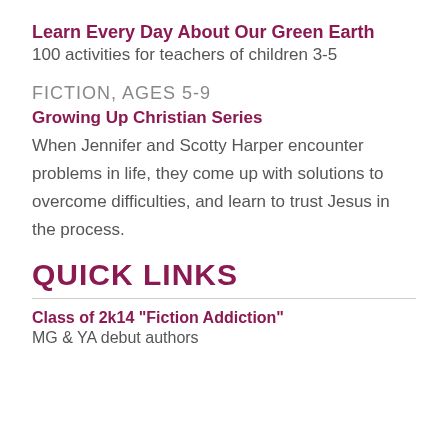Learn Every Day About Our Green Earth
100 activities for teachers of children 3-5
FICTION, AGES 5-9
Growing Up Christian Series
When Jennifer and Scotty Harper encounter problems in life, they come up with solutions to overcome difficulties, and learn to trust Jesus in the process.
QUICK LINKS
Class of 2k14 "Fiction Addiction"
MG & YA debut authors